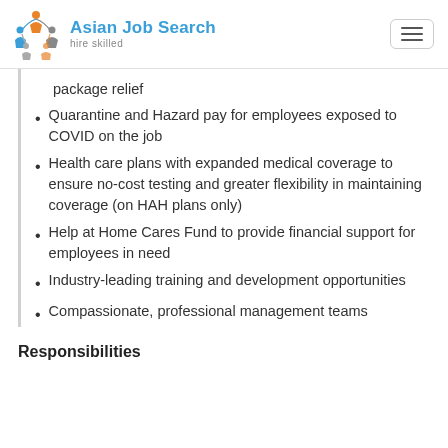Asian Job Search hire skilled
package relief
Quarantine and Hazard pay for employees exposed to COVID on the job
Health care plans with expanded medical coverage to ensure no-cost testing and greater flexibility in maintaining coverage (on HAH plans only)
Help at Home Cares Fund to provide financial support for employees in need
Industry-leading training and development opportunities
Compassionate, professional management teams
Responsibilities